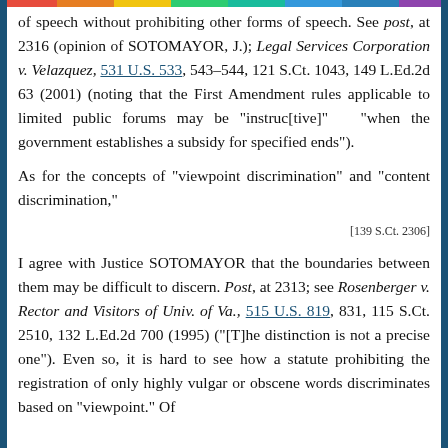of speech without prohibiting other forms of speech. See post, at 2316 (opinion of SOTOMAYOR, J.); Legal Services Corporation v. Velazquez, 531 U.S. 533, 543–544, 121 S.Ct. 1043, 149 L.Ed.2d 63 (2001) (noting that the First Amendment rules applicable to limited public forums may be "instruc[tive]" "when the government establishes a subsidy for specified ends").
As for the concepts of "viewpoint discrimination" and "content discrimination,"
[139 S.Ct. 2306]
I agree with Justice SOTOMAYOR that the boundaries between them may be difficult to discern. Post, at 2313; see Rosenberger v. Rector and Visitors of Univ. of Va., 515 U.S. 819, 831, 115 S.Ct. 2510, 132 L.Ed.2d 700 (1995) ("[T]he distinction is not a precise one"). Even so, it is hard to see how a statute prohibiting the registration of only highly vulgar or obscene words discriminates based on "viewpoint." Of